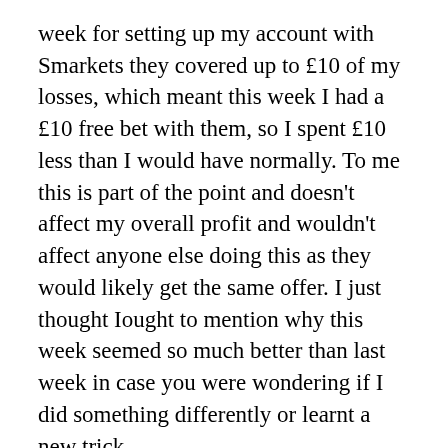week for setting up my account with Smarkets they covered up to £10 of my losses, which meant this week I had a £10 free bet with them, so I spent £10 less than I would have normally. To me this is part of the point and doesn't affect my overall profit and wouldn't affect anyone else doing this as they would likely get the same offer. I just thought Iought to mention why this week seemed so much better than last week in case you were wondering if I did something differently or learnt a new trick.
This week I jumped straight in using the betting calculators which really are the key to making sure you come out on top. They are easy to use and do all the hard work